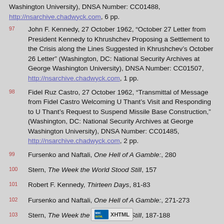Washington University), DNSA Number: CC01488, http://nsarchive.chadwyck.com, 6 pp.
97   John F. Kennedy, 27 October 1962, “October 27 Letter from President Kennedy to Khrushchev Proposing a Settlement to the Crisis along the Lines Suggested in Khrushchev's October 26 Letter” (Washington, DC: National Security Archives at George Washington University), DNSA Number: CC01507, http://nsarchive.chadwyck.com, 1 pp.
98   Fidel Ruz Castro, 27 October 1962, “Transmittal of Message from Fidel Castro Welcoming U Thant’s Visit and Responding to U Thant’s Request to Suspend Missile Base Construction,” (Washington, DC: National Security Archives at George Washington University), DNSA Number: CC01485, http://nsarchive.chadwyck.com, 2 pp.
99   Fursenko and Naftali, One Hell of A Gamble:, 280
100   Stern, The Week the World Stood Still, 157
101   Robert F. Kennedy, Thirteen Days, 81-83
102   Fursenko and Naftali, One Hell of A Gamble:, 271-273
103   Stern, The Week the World Stood Still, 187-188